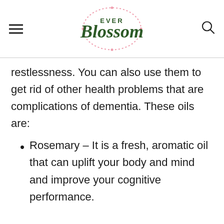Ever Blossom
restlessness. You can also use them to get rid of other health problems that are complications of dementia. These oils are:
Rosemary – It is a fresh, aromatic oil that can uplift your body and mind and improve your cognitive performance.